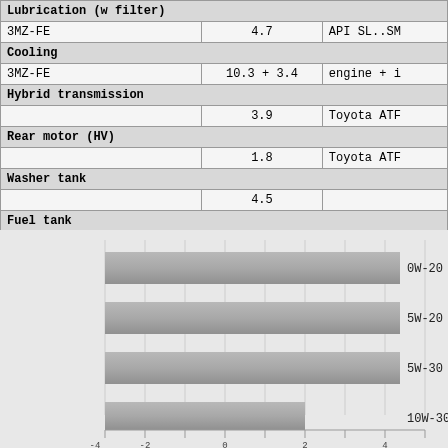|  | Capacity | Fluid type |
| --- | --- | --- |
| Lubrication (w filter) |  |  |
| 3MZ-FE | 4.7 | API SL..SM |
| Cooling |  |  |
| 3MZ-FE | 10.3 + 3.4 | engine + i |
| Hybrid transmission |  |  |
|  | 3.9 | Toyota ATF |
| Rear motor (HV) |  |  |
|  | 1.8 | Toyota ATF |
| Washer tank |  |  |
|  | 4.5 |  |
| Fuel tank |  |  |
| 3MZ-FE | 65 | Premium (R |
[Figure (bar-chart): Oil viscosity grades]